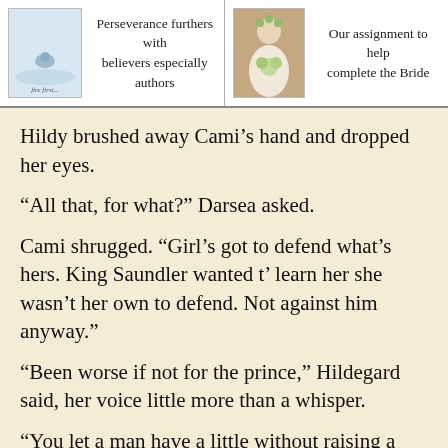Perseverance furthers with believers especially authors
Our assignment to help complete the Bride
Hildy brushed away Cami’s hand and dropped her eyes.
“All that, for what?” Darsea asked.
Cami shrugged. “Girl’s got to defend what’s hers. King Saundler wanted t’ learn her she wasn’t her own to defend. Not against him anyway.”
“Been worse if not for the prince,” Hildegard said, her voice little more than a whisper.
“You let a man have a little without raising a fuss, he might jus’ think he’s entitled to more. King thinks they ain’t no boundaries to his wants no how. He jus’